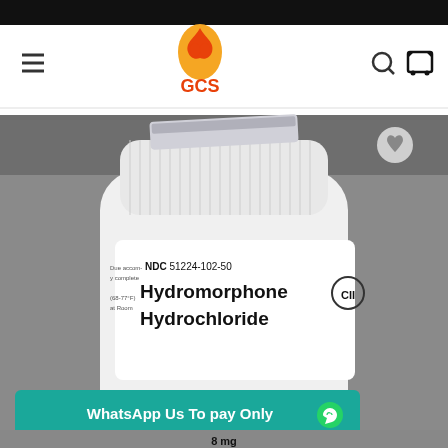[Figure (screenshot): Website screenshot showing GCS logo with flame icon at top, navigation bar with hamburger menu, search and cart icons, and a product photo of a Hydromorphone Hydrochloride medication bottle (NDC 51224-102-50) with a teal banner at the bottom reading 'WhatsApp Us To pay Only' with a WhatsApp icon.]